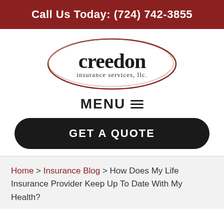Call Us Today: (724) 742-3855
[Figure (logo): Creedon Insurance Services, LLC. logo — oval shape with dark red border, company name in serif font]
MENU ☰
GET A QUOTE
Home > Insurance Blog > How Does My Life Insurance Provider Keep Up To Date With My Health?